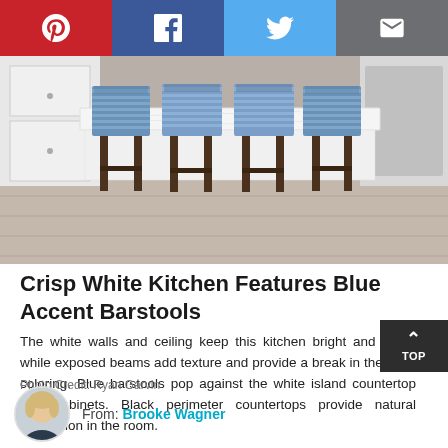[Figure (other): Social sharing bar with Pinterest (red), Facebook (dark blue), Twitter (light blue), and Email (gray) buttons]
[Figure (photo): Kitchen interior with white island countertop and four blue striped barstools with dark wood legs]
Crisp White Kitchen Features Blue Accent Barstools
The white walls and ceiling keep this kitchen bright and open, while exposed beams add texture and provide a break in the stark coloring. Blue barstools pop against the white island countertop and cabinets. Black perimeter countertops provide natural separation in the room.
Photo Credit: Ryan Garvin
From: Brooke Wagner